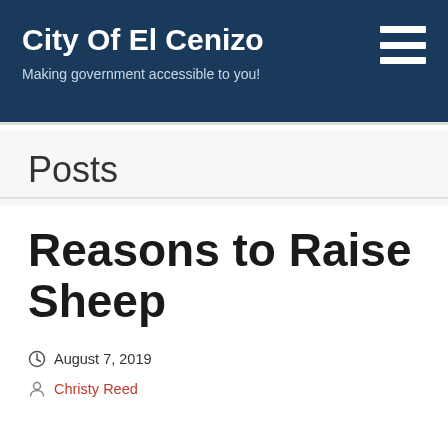City Of El Cenizo
Making government accessible to you!
Posts
Reasons to Raise Sheep
August 7, 2019
Christy Reed